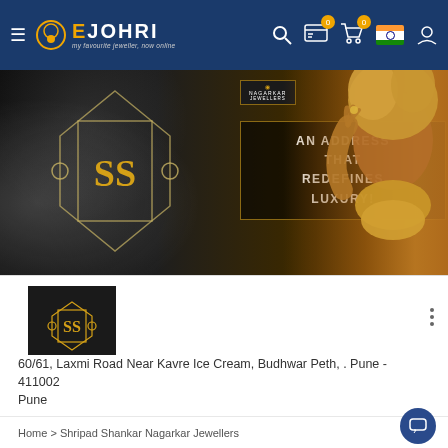eJOHRI navigation bar with logo, search, cart (0), wishlist (0), India flag, and account icon
[Figure (photo): Shripad Shankar Nagarkar Jewellers banner image with dark background, SS logo design, 'AN ADDRESS THAT REDEFINES LUXURY!' text in a bordered box, and woman with gold jewelry on right side]
[Figure (logo): Nagarkar Jewellers square logo - black background with SS emblem and 'NAGARKAR JEWELLERS' text]
Shripad Shankar Nagarkar Jewellers
60/61, Laxmi Road Near Kavre Ice Cream, Budhwar Peth, . Pune - 411002
Pune
Home > Shripad Shankar Nagarkar Jewellers